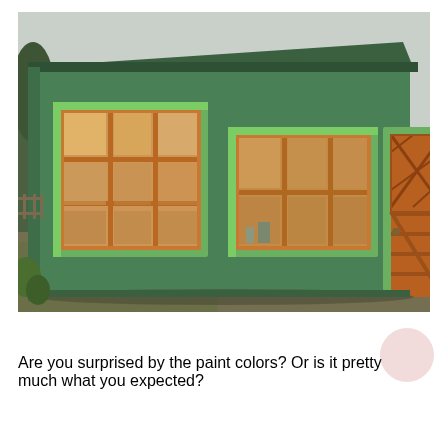[Figure (photo): A small green painted shed/outbuilding with light green trim around windows and door frame. The shed has a shed-style sloped roof, two large multi-pane windows with orange/brown wooden frames (one on the left side, one in the center-front), and a wooden barn-style door with X-pattern diamond lattice on the upper half. Background shows trees, a utility pole, and another house. The exterior is painted in a medium green with lighter green accent trim.]
Are you surprised by the paint colors? Or is it pretty much what you expected?